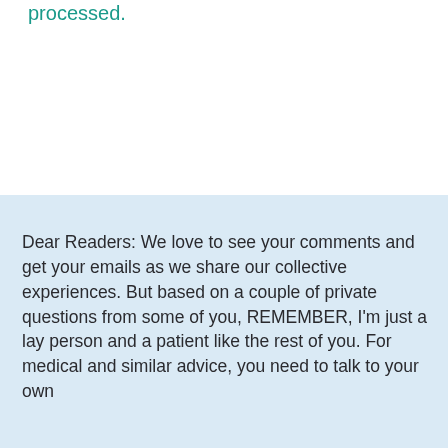processed.
Dear Readers:  We love to see your comments and get your emails as we share our collective experiences.  But based on a couple of private questions from some of you, REMEMBER, I'm just a lay person and a patient like the rest of you.  For medical and similar advice, you need to talk to your own